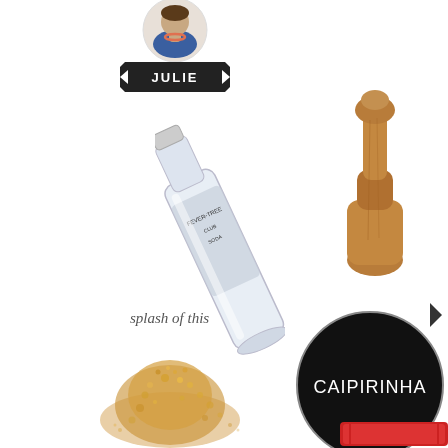[Figure (photo): Circular cropped photo of a woman named Julie wearing a blue top and beaded necklace, at top center]
JULIE
[Figure (photo): Glass bottle of Fever-Tree Club Soda tilted diagonally in the center of the page]
splash of this
[Figure (photo): Wooden muddler/pestle on the right side]
[Figure (photo): Pile of brown/raw sugar crystals at bottom left]
[Figure (logo): Black circle with white text reading CAIPIRINHA]
[Figure (photo): Red rectangular object partially visible at bottom right corner]